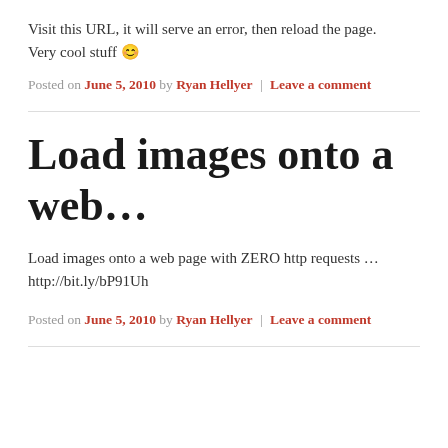Visit this URL, it will serve an error, then reload the page.
Very cool stuff 😊
Posted on June 5, 2010 by Ryan Hellyer | Leave a comment
Load images onto a web...
Load images onto a web page with ZERO http requests … http://bit.ly/bP91Uh
Posted on June 5, 2010 by Ryan Hellyer | Leave a comment